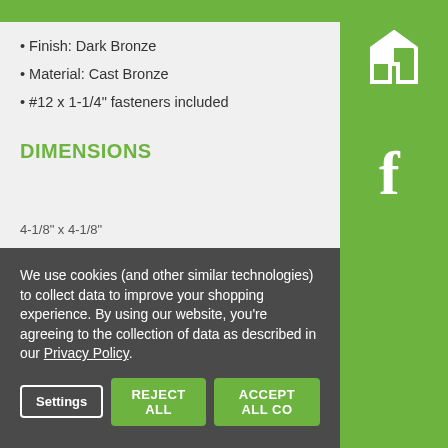Finish: Dark Bronze
Material: Cast Bronze
#12 x 1-1/4" fasteners included
DIMENSIONS
4-1/8" x 4-1/8"
We use cookies (and other similar technologies) to collect data to improve your shopping experience. By using our website, you're agreeing to the collection of data as described in our Privacy Policy.